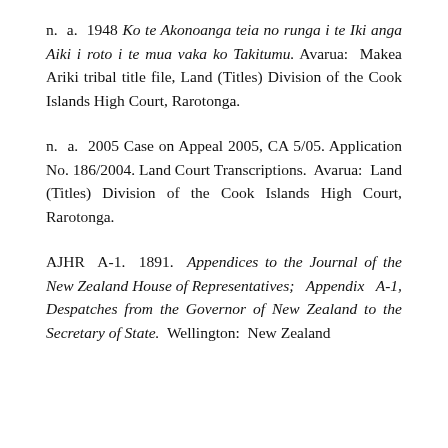n. a. 1948 Ko te Akonoanga teia no runga i te Iki anga Aiki i roto i te mua vaka ko Takitumu. Avarua: Makea Ariki tribal title file, Land (Titles) Division of the Cook Islands High Court, Rarotonga.
n. a. 2005 Case on Appeal 2005, CA 5/05. Application No. 186/2004. Land Court Transcriptions. Avarua: Land (Titles) Division of the Cook Islands High Court, Rarotonga.
AJHR A-1. 1891. Appendices to the Journal of the New Zealand House of Representatives; Appendix A-1, Despatches from the Governor of New Zealand to the Secretary of State. Wellington: New Zealand